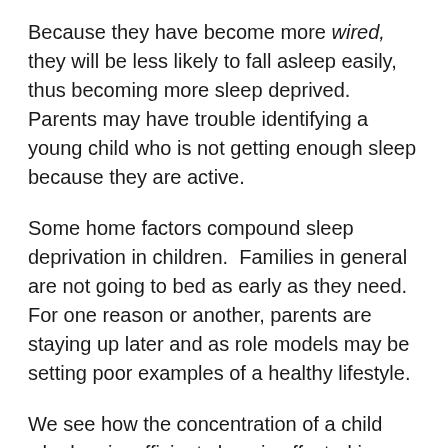Because they have become more wired, they will be less likely to fall asleep easily, thus becoming more sleep deprived.  Parents may have trouble identifying a young child who is not getting enough sleep because they are active.
Some home factors compound sleep deprivation in children.  Families in general are not going to bed as early as they need.  For one reason or another, parents are staying up later and as role models may be setting poor examples of a healthy lifestyle.
We see how the concentration of a child who has insufficient sleep is affected in our tuition room.  A student who the previous week was performing wonderfully on our program suddenly has low scores and answers very few questions.  When asked what they did the previous night